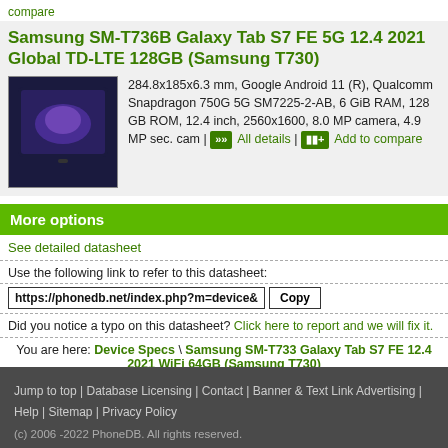compare
Samsung SM-T736B Galaxy Tab S7 FE 5G 12.4 2021 Global TD-LTE 128GB (Samsung T730)
[Figure (photo): Samsung Galaxy Tab S7 FE tablet product image on dark blue background]
284.8x185x6.3 mm, Google Android 11 (R), Qualcomm Snapdragon 750G 5G SM7225-2-AB, 6 GiB RAM, 128 GB ROM, 12.4 inch, 2560x1600, 8.0 MP camera, 4.9 MP sec. cam | All details | Add to compare
More options
See detailed datasheet
Use the following link to refer to this datasheet:
https://phonedb.net/index.php?m=device&
Did you notice a typo on this datasheet? Click here to report and we will fix it.
You are here: Device Specs \ Samsung SM-T733 Galaxy Tab S7 FE 12.4 2021 WiFi 64GB (Samsung T730)
Jump to top | Database Licensing | Contact | Banner & Text Link Advertising | Help | Sitemap | Privacy Policy
(c) 2006 -2022 PhoneDB. All rights reserved.